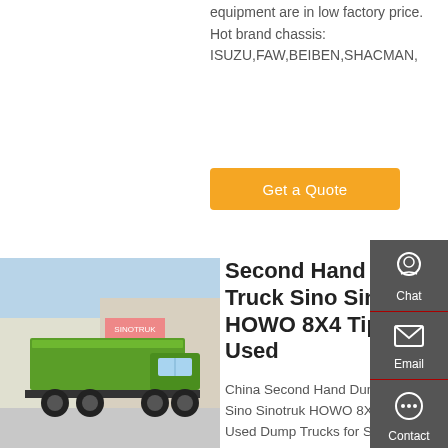equipment are in low factory price. Hot brand chassis: ISUZU,FAW,BEIBEN,SHACMAN,
Get a Quote
[Figure (photo): Green Sinotruk HOWO 8X4 dump truck parked outdoors]
Second Hand Dump Truck Sino Sinotruk HOWO 8X4 Tipper Used
China Second Hand Dump Truck Sino Sinotruk HOWO 8X4 Used Dump Trucks for Sale at Price, Find details about China Dump Truck, Used Dump Truck from Second Hand Dump Truck
Chat
Email
Contact
Top